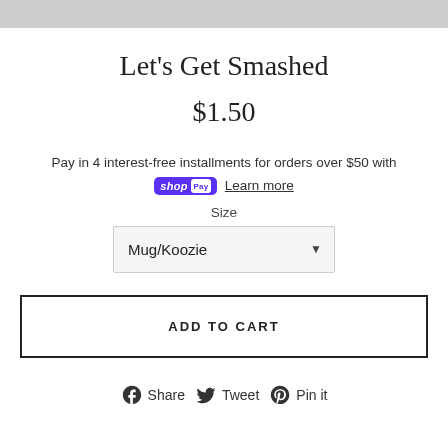[Figure (photo): Top portion of a product photo, cropped — gray/white background visible]
Let's Get Smashed
$1.50
Pay in 4 interest-free installments for orders over $50 with shop Pay  Learn more
Size
Mug/Koozie
ADD TO CART
Share  Tweet  Pin it